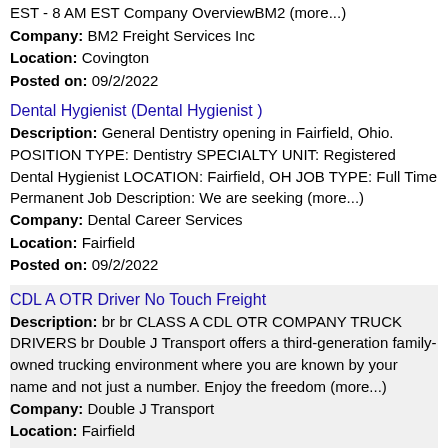EST - 8 AM EST Company OverviewBM2 (more...)
Company: BM2 Freight Services Inc
Location: Covington
Posted on: 09/2/2022
Dental Hygienist (Dental Hygienist )
Description: General Dentistry opening in Fairfield, Ohio. POSITION TYPE: Dentistry SPECIALTY UNIT: Registered Dental Hygienist LOCATION: Fairfield, OH JOB TYPE: Full Time Permanent Job Description: We are seeking (more...)
Company: Dental Career Services
Location: Fairfield
Posted on: 09/2/2022
CDL A OTR Driver No Touch Freight
Description: br br CLASS A CDL OTR COMPANY TRUCK DRIVERS br Double J Transport offers a third-generation family-owned trucking environment where you are known by your name and not just a number. Enjoy the freedom (more...)
Company: Double J Transport
Location: Fairfield
Posted on: 09/2/2022
Urgent Opening - Auto Glass Service Technician